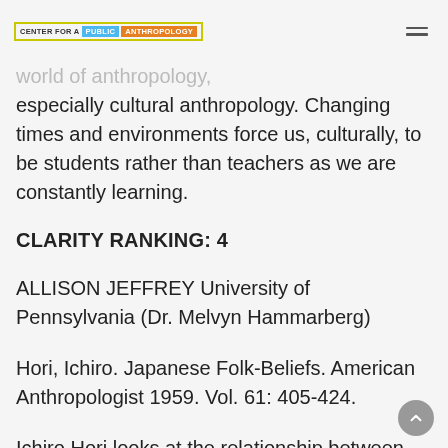CENTER FOR A PUBLIC ANTHROPOLOGY
especially cultural anthropology. Changing times and environments force us, culturally, to be students rather than teachers as we are constantly learning.
CLARITY RANKING: 4
ALLISON JEFFREY University of Pennsylvania (Dr. Melvyn Hammarberg)
Hori, Ichiro. Japanese Folk-Beliefs. American Anthropologist 1959. Vol. 61: 405-424.
Ichiro Hori looks at the relationship between